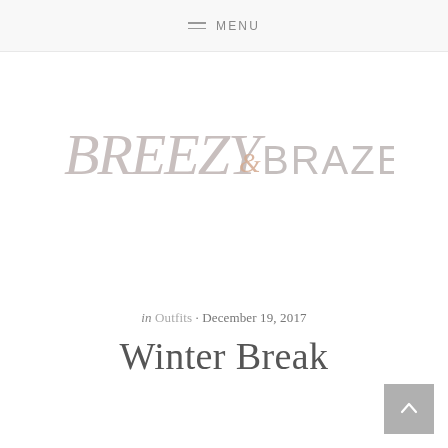MENU
[Figure (logo): Breezy & Brazen blog logo in light gray script and geometric lettering]
in Outfits · December 19, 2017
Winter Break